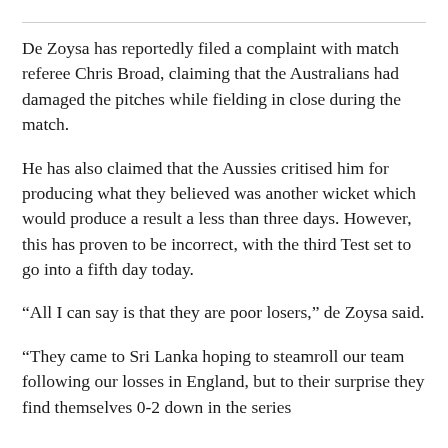De Zoysa has reportedly filed a complaint with match referee Chris Broad, claiming that the Australians had damaged the pitches while fielding in close during the match.
He has also claimed that the Aussies critised him for producing what they believed was another wicket which would produce a result a less than three days. However, this has proven to be incorrect, with the third Test set to go into a fifth day today.
“All I can say is that they are poor losers,” de Zoysa said.
“They came to Sri Lanka hoping to steamroll our team following our losses in England, but to their surprise they find themselves 0-2 down in the series